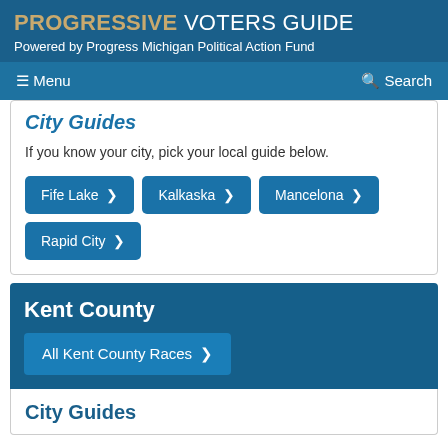PROGRESSIVE VOTERS GUIDE
Powered by Progress Michigan Political Action Fund
≡ Menu    🔍 Search
City Guides
If you know your city, pick your local guide below.
Fife Lake >
Kalkaska >
Mancelona >
Rapid City >
Kent County
All Kent County Races >
City Guides